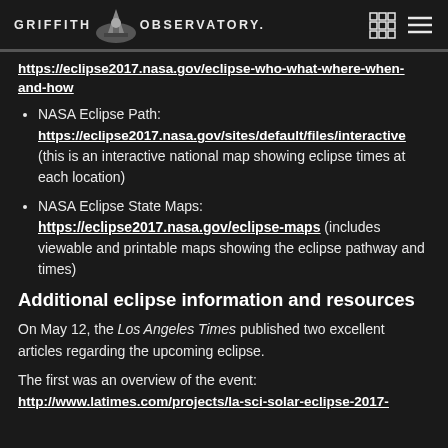GRIFFITH OBSERVATORY
https://eclipse2017.nasa.gov/eclipse-who-what-where-when-and-how
NASA Eclipse Path: https://eclipse2017.nasa.gov/sites/default/files/interactive (this is an interactive national map showing eclipse times at each location)
NASA Eclipse State Maps: https://eclipse2017.nasa.gov/eclipse-maps (includes viewable and printable maps showing the eclipse pathway and times)
Additional eclipse information and resources
On May 12, the Los Angeles Times published two excellent articles regarding the upcoming eclipse.
The first was an overview of the event: http://www.latimes.com/projects/la-sci-solar-eclipse-2017-